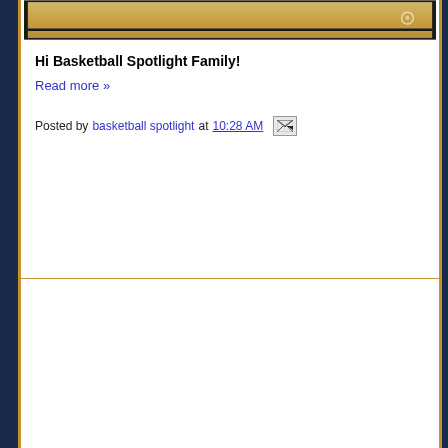[Figure (photo): Top portion of a basketball court photo showing hardwood floor with a black border, partially cropped at the top of the page]
Hi Basketball Spotlight Family!
Read more »
Posted by basketball spotlight at 10:28 AM